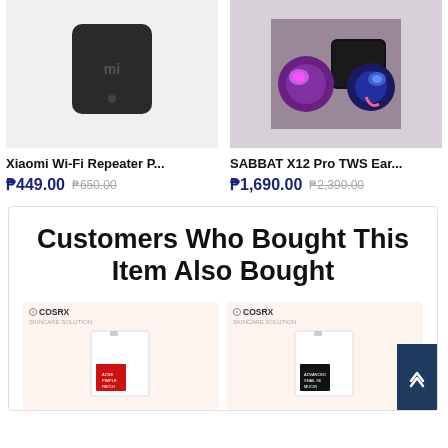[Figure (photo): Xiaomi Wi-Fi Repeater product image - black square device]
[Figure (photo): SABBAT X12 Pro TWS Earbuds product image - colorful earbuds with charging case]
Xiaomi Wi-Fi Repeater P...
₱449.00 ₱650.00
SABBAT X12 Pro TWS Ear...
₱1,690.00 ₱2,390.00
Customers Who Bought This Item Also Bought
[Figure (photo): COSRX product image - white pouch with red label]
[Figure (photo): COSRX product image - white pouch with black label]